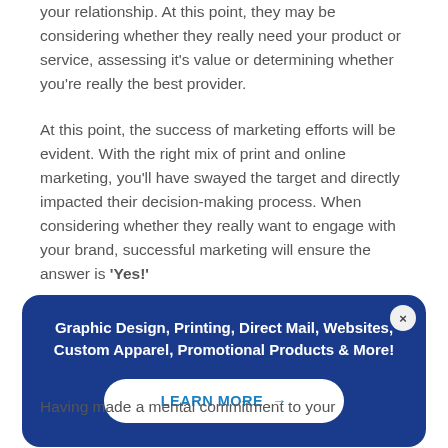your relationship. At this point, they may be considering whether they really need your product or service, assessing it's value or determining whether you're really the best provider.
At this point, the success of marketing efforts will be evident. With the right mix of print and online marketing, you'll have swayed the target and directly impacted their decision-making process. When considering whether they really want to engage with your brand, successful marketing will ensure the answer is 'Yes!'
[Figure (infographic): Blue promotional banner overlay with close button, displaying text 'Graphic Design, Printing, Direct Mail, Websites, Custom Apparel, Promotional Products & More!' and a 'LEARN MORE →' button]
Having made a mental commitment to your